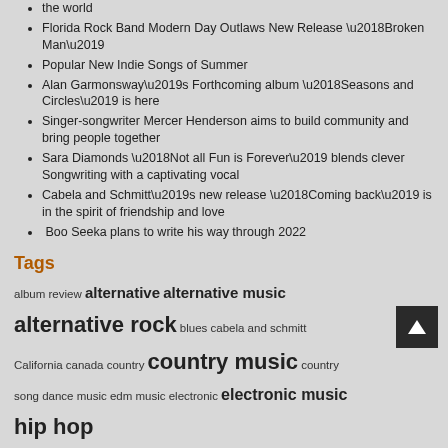the world
Florida Rock Band Modern Day Outlaws New Release ‘Broken Man’
Popular New Indie Songs of Summer
Alan Garmonsway’s Forthcoming album ‘Seasons and Circles’ is here
Singer-songwriter Mercer Henderson aims to build community and bring people together
Sara Diamonds ‘Not all Fun is Forever’ blends clever Songwriting with a captivating vocal
Cabela and Schmitt’s new release ‘Coming back’ is in the spirit of friendship and love
Boo Seeka plans to write his way through 2022
Tags
album review alternative alternative music alternative rock blues cabela and schmitt California canada country country music country song dance music edm music electronic electronic music hip hop